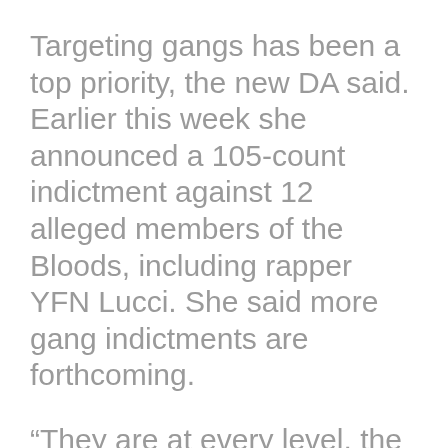Targeting gangs has been a top priority, the new DA said. Earlier this week she announced a 105-count indictment against 12 alleged members of the Bloods, including rapper YFN Lucci. She said more gang indictments are forthcoming.
“They are at every level, the sex trafficking, the car thefts, the violence,” Willis said. “We have had people in denial (about a gang problem). I am not in denial. I’m putting a tremendous amount of resources here. I am going to be, to those who are committing